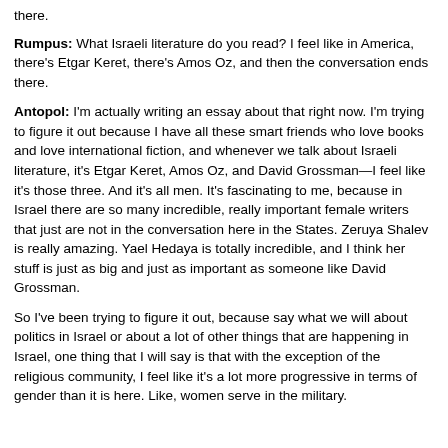there.
Rumpus: What Israeli literature do you read? I feel like in America, there's Etgar Keret, there's Amos Oz, and then the conversation ends there.
Antopol: I'm actually writing an essay about that right now. I'm trying to figure it out because I have all these smart friends who love books and love international fiction, and whenever we talk about Israeli literature, it's Etgar Keret, Amos Oz, and David Grossman—I feel like it's those three. And it's all men. It's fascinating to me, because in Israel there are so many incredible, really important female writers that just are not in the conversation here in the States. Zeruya Shalev is really amazing. Yael Hedaya is totally incredible, and I think her stuff is just as big and just as important as someone like David Grossman.
So I've been trying to figure it out, because say what we will about politics in Israel or about a lot of other things that are happening in Israel, one thing that I will say is that with the exception of the religious community, I feel like it's a lot more progressive in terms of gender than it is here. Like, women serve in the military.